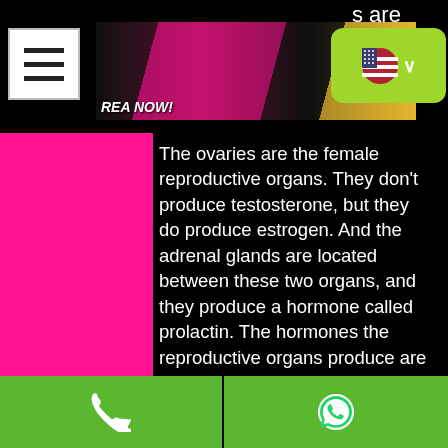[Figure (screenshot): Mobile website navigation bar with hamburger menu icon, banner advertisement image showing women, and a language selector button with US flag]
s are
oduce
sire.
The ovaries are the female reproductive organs. They don't produce testosterone, but they do produce estrogen. And the adrenal glands are located between these two organs, and they produce a hormone called prolactin. The hormones the reproductive organs produce are called estradiol and progesterone.
There are two main types of hormones that are produced at an early stage of the egg cell development.
Estrogens (also called estrones or progesterones): These are the precursors to other female hormones, such as androgens, oestrogens, and estrogen. They can also act
[Figure (screenshot): Bottom navigation bar with green phone call button and green WhatsApp button]